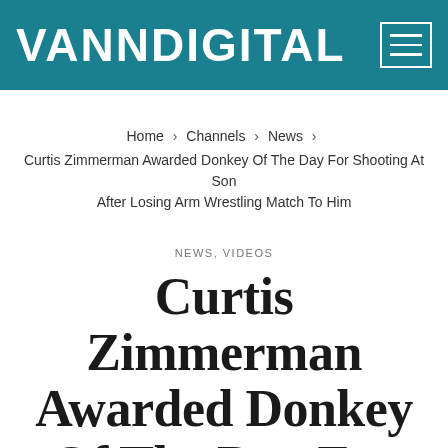VANNDIGITAL
Home > Channels > News > Curtis Zimmerman Awarded Donkey Of The Day For Shooting At Son After Losing Arm Wrestling Match To Him
NEWS, VIDEOS
Curtis Zimmerman Awarded Donkey Of The Day For